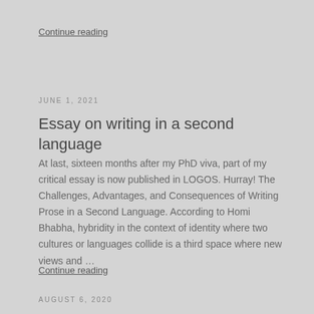Continue reading
JUNE 1, 2021
Essay on writing in a second language
At last, sixteen months after my PhD viva, part of my critical essay is now published in LOGOS. Hurray! The Challenges, Advantages, and Consequences of Writing Prose in a Second Language. According to Homi Bhabha, hybridity in the context of identity where two cultures or languages collide is a third space where new views and …
Continue reading
AUGUST 6, 2020